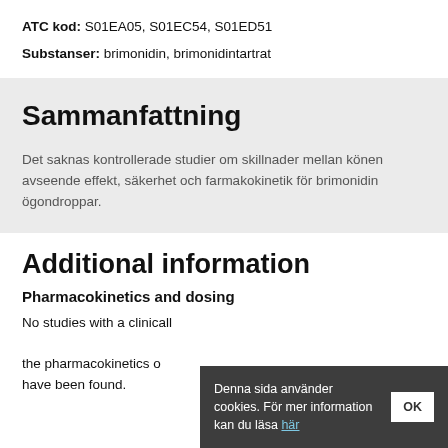ATC kod: S01EA05, S01EC54, S01ED51
Substanser: brimonidin, brimonidintartrat
Sammanfattning
Det saknas kontrollerade studier om skillnader mellan könen avseende effekt, säkerhet och farmakokinetik för brimonidin ögondroppar.
Additional information
Pharmacokinetics and dosing
No studies with a clinically relevant pharmacokinetic design regarding the pharmacokinetics of brimonidin in women versus men have been found.
Denna sida använder cookies. För mer information kan du läsa här